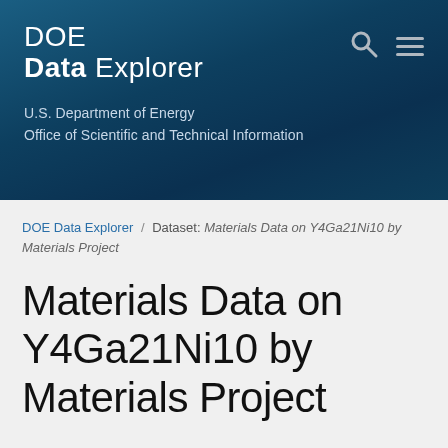DOE Data Explorer — U.S. Department of Energy Office of Scientific and Technical Information
DOE Data Explorer / Dataset: Materials Data on Y4Ga21Ni10 by Materials Project
Materials Data on Y4Ga21Ni10 by Materials Project